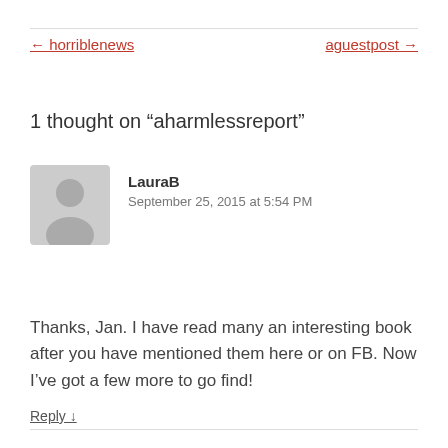← horriblenews    aguestpost →
1 thought on “aharmlessreport”
LauraB
September 25, 2015 at 5:54 PM
Thanks, Jan. I have read many an interesting book after you have mentioned them here or on FB. Now I’ve got a few more to go find!
Reply ↓